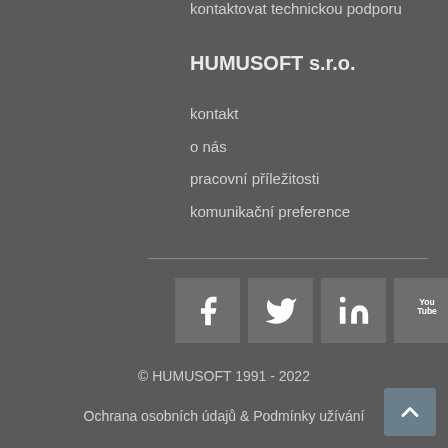kontaktovat technickou podporu
HUMUSOFT s.r.o.
kontakt
o nás
pracovní příležitosti
komunikační preference
[Figure (logo): Social media icons: Facebook, Twitter, LinkedIn, YouTube, Instagram]
© HUMUSOFT 1991 - 2022
Ochrana osobních údajů & Podmínky užívání